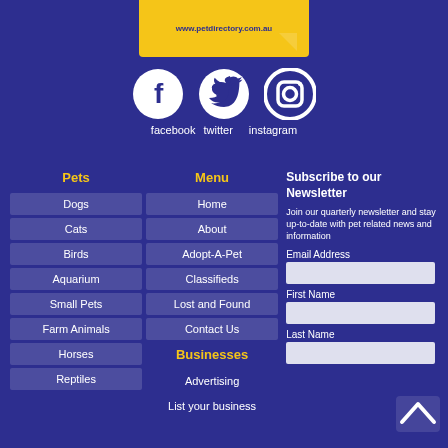[Figure (logo): Pet Directory logo banner with yellow background and URL www.petdirectory.com.au]
[Figure (illustration): Social media icons: Facebook (circle with f), Twitter (circle with bird), Instagram (circle with camera outline), with text labels 'facebook twitter instagram']
Pets
Dogs
Cats
Birds
Aquarium
Small Pets
Farm Animals
Horses
Reptiles
Menu
Home
About
Adopt-A-Pet
Classifieds
Lost and Found
Contact Us
Businesses
Advertising
List your business
Subscribe to our Newsletter
Join our quarterly newsletter and stay up-to-date with pet related news and information
Email Address
First Name
Last Name